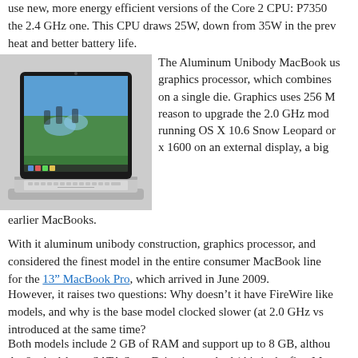use new, more energy efficient versions of the Core 2 CPU: P7350 the 2.4 GHz one. This CPU draws 25W, down from 35W in the prev heat and better battery life.
[Figure (photo): Photo of an Apple MacBook laptop with a scenic outdoor image on screen]
The Aluminum Unibody MacBook us graphics processor, which combines on a single die. Graphics uses 256 M reason to upgrade the 2.0 GHz mod running OS X 10.6 Snow Leopard or x 1600 on an external display, a big earlier MacBooks.
With it aluminum unibody construction, graphics processor, and considered the finest model in the entire consumer MacBook line for the 13” MacBook Pro, which arrived in June 2009.
However, it raises two questions: Why doesn’t it have FireWire like models, and why is the base model clocked slower (at 2.0 GHz vs introduced at the same time?
Both models include 2 GB of RAM and support up to 8 GB, althou An 8x dual-layer SATA SuperDrive is standard (this is the first Mac